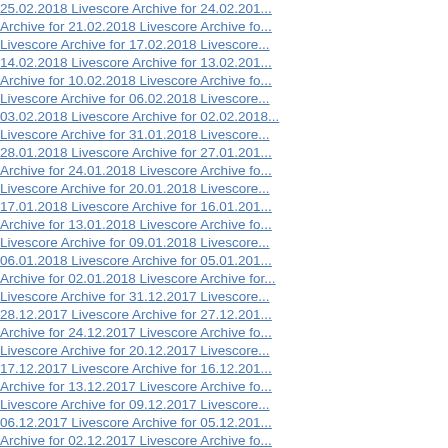25.02.2018   Livescore Archive for 24.02.201...
Archive for 21.02.2018   Livescore Archive fo...
Livescore Archive for 17.02.2018   Livescore...
14.02.2018   Livescore Archive for 13.02.201...
Archive for 10.02.2018   Livescore Archive fo...
Livescore Archive for 06.02.2018   Livescore...
03.02.2018   Livescore Archive for 02.02.2018...
Livescore Archive for 31.01.2018   Livescore...
28.01.2018   Livescore Archive for 27.01.201...
Archive for 24.01.2018   Livescore Archive fo...
Livescore Archive for 20.01.2018   Livescore...
17.01.2018   Livescore Archive for 16.01.201...
Archive for 13.01.2018   Livescore Archive fo...
Livescore Archive for 09.01.2018   Livescore...
06.01.2018   Livescore Archive for 05.01.201...
Archive for 02.01.2018   Livescore Archive for...
Livescore Archive for 31.12.2017   Livescore...
28.12.2017   Livescore Archive for 27.12.201...
Archive for 24.12.2017   Livescore Archive fo...
Livescore Archive for 20.12.2017   Livescore...
17.12.2017   Livescore Archive for 16.12.201...
Archive for 13.12.2017   Livescore Archive fo...
Livescore Archive for 09.12.2017   Livescore...
06.12.2017   Livescore Archive for 05.12.201...
Archive for 02.12.2017   Livescore Archive fo...